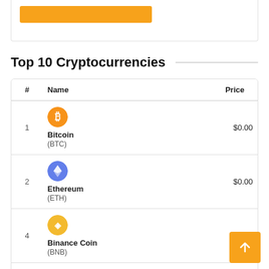[Figure (other): Partial view of a chart stub with an orange horizontal bar at top of page]
Top 10 Cryptocurrencies
| # | Name | Price |
| --- | --- | --- |
| 1 | Bitcoin (BTC) | $0.00 |
| 2 | Ethereum (ETH) | $0.00 |
| 4 | Binance Coin (BNB) | $0.00 |
| 6 | Cardano | $0.537 |